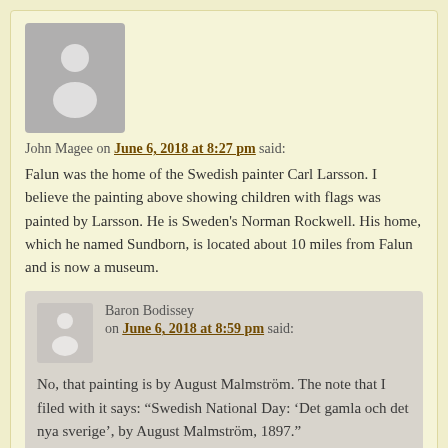[Figure (illustration): Large grey avatar placeholder showing a person silhouette]
John Magee on June 6, 2018 at 8:27 pm said:
Falun was the home of the Swedish painter Carl Larsson. I believe the painting above showing children with flags was painted by Larsson. He is Sweden's Norman Rockwell. His home, which he named Sundborn, is located about 10 miles from Falun and is now a museum.
[Figure (illustration): Medium grey avatar placeholder showing a person silhouette for Baron Bodissey]
Baron Bodissey on June 6, 2018 at 8:59 pm said:
No, that painting is by August Malmström. The note that I filed with it says: “Swedish National Day: ‘Det gamla och det nya sverige’, by August Malmström, 1897.”
[Figure (illustration): Small grey avatar placeholder for LN]
LN